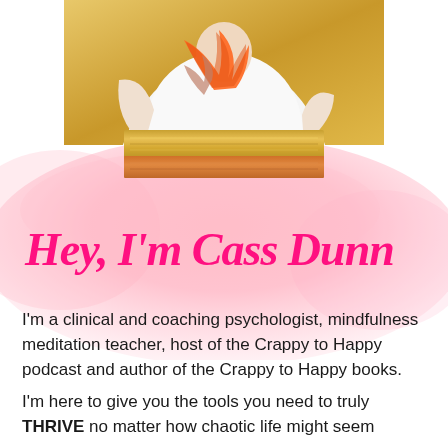[Figure (photo): Photo of Cass Dunn wearing a white t-shirt with an orange and rose gold tropical leaf print, against a gold/yellow background. Only the torso and partial arms are visible.]
[Figure (illustration): Decorative gold and copper tape/washi tape strips overlapping a pink watercolor splash background]
Hey, I'm Cass Dunn
I'm a clinical and coaching psychologist, mindfulness meditation teacher, host of the Crappy to Happy podcast and author of the Crappy to Happy books.
I'm here to give you the tools you need to truly THRIVE no matter how chaotic life might seem and to give you the courage to change and to